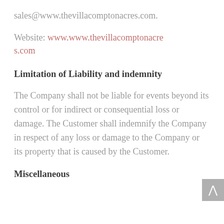sales@www.thevillacomptonacres.com.
Website: www.www.thevillacomptonacres.com
Limitation of Liability and indemnity
The Company shall not be liable for events beyond its control or for indirect or consequential loss or damage. The Customer shall indemnify the Company in respect of any loss or damage to the Company or its property that is caused by the Customer.
Miscellaneous